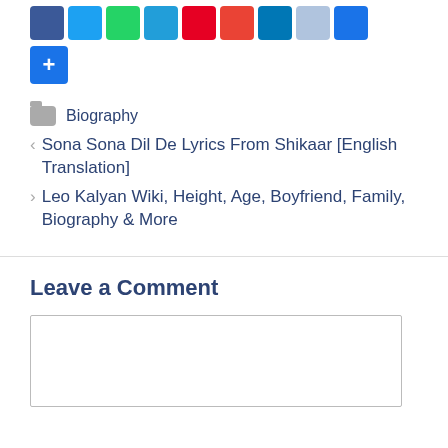[Figure (other): Row of social media share buttons (Facebook, Twitter, WhatsApp, Telegram, Pinterest, Gmail, LinkedIn, light blue, dark blue) and a blue plus (+) button below]
Biography
< Sona Sona Dil De Lyrics From Shikaar [English Translation]
> Leo Kalyan Wiki, Height, Age, Boyfriend, Family, Biography & More
Leave a Comment